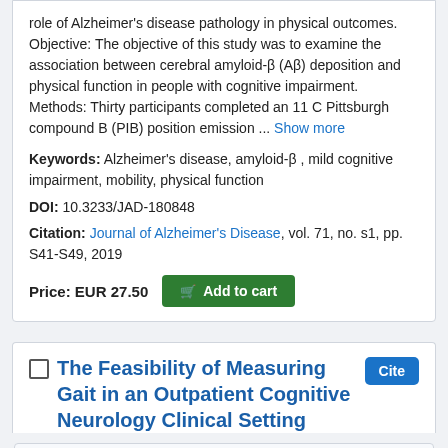role of Alzheimer's disease pathology in physical outcomes. Objective: The objective of this study was to examine the association between cerebral amyloid-β (Aβ) deposition and physical function in people with cognitive impairment. Methods: Thirty participants completed an 11 C Pittsburgh compound B (PIB) position emission ... Show more
Keywords: Alzheimer's disease, amyloid-β , mild cognitive impairment, mobility, physical function
DOI: 10.3233/JAD-180848
Citation: Journal of Alzheimer's Disease, vol. 71, no. s1, pp. S41-S49, 2019
Price: EUR 27.50  Add to cart
The Feasibility of Measuring Gait in an Outpatient Cognitive Neurology Clinical Setting
Authors: Nocera, Joe R. | Arsik, Idil | Keskinocak, Pinar | Lepley-Flood, Amy | Lah, James J. | Levey, Allan I. | Esper,